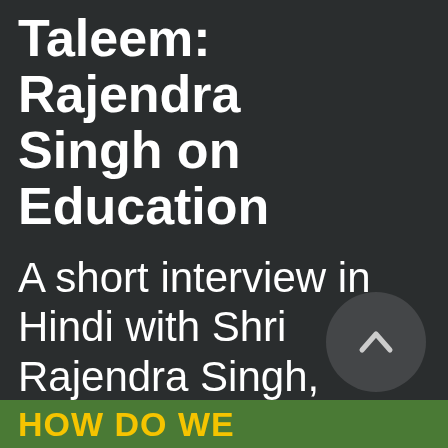Taleem: Rajendra Singh on Education
A short interview in Hindi with Shri Rajendra Singh, Gandhian environmentalist and 'waterman of India' on his thoughts on education.
HOW DO WE